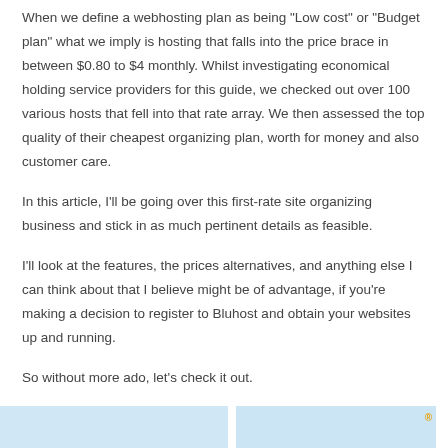When we define a webhosting plan as being "Low cost" or "Budget plan" what we imply is hosting that falls into the price brace in between $0.80 to $4 monthly. Whilst investigating economical holding service providers for this guide, we checked out over 100 various hosts that fell into that rate array. We then assessed the top quality of their cheapest organizing plan, worth for money and also customer care.
In this article, I'll be going over this first-rate site organizing business and stick in as much pertinent details as feasible.
I'll look at the features, the prices alternatives, and anything else I can think about that I believe might be of advantage, if you're making a decision to register to Bluhost and obtain your websites up and running.
So without more ado, let's check it out.
[Figure (photo): Partial view of a webpage or image strip with light blue sections at the bottom of the page]